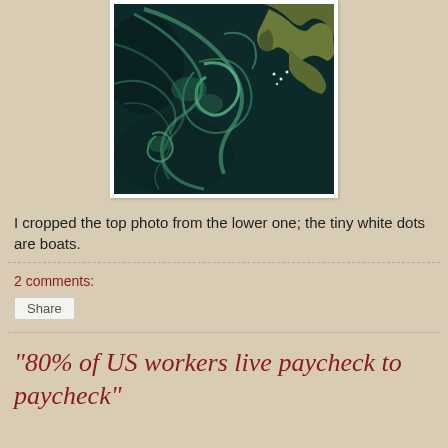[Figure (photo): Satellite photograph showing swirling green and teal phytoplankton blooms in dark ocean water, with a rocky coastline visible in the upper right. Small white dots (boats) are visible near the coast.]
I cropped the top photo from the lower one; the tiny white dots are boats.
2 comments:
Share
"80% of US workers live paycheck to paycheck"